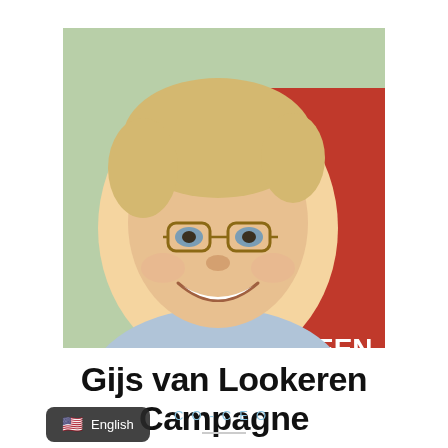[Figure (photo): Headshot of Gijs van Lookeren Campagne, a smiling middle-aged man with glasses and blonde/grey hair, wearing a light blue shirt, standing in front of a red car with 'GREEN' visible]
Gijs van Lookeren Campagne
CO-CEO
[Figure (logo): LinkedIn square logo icon in dark blue/black]
[Figure (photo): Partial headshot of a second person with dark hair at bottom of page]
English